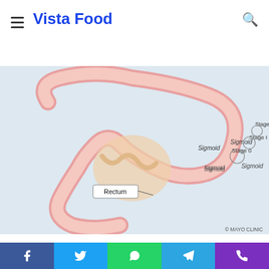Vista Food
[Figure (photo): Composite image: top half shows colorful fruit and food dishes; bottom half shows a Mayo Clinic medical diagram of colorectal cancer stages including labels: Rectum, Sigmoid, Stage 0, Stage I, Stage II, with copyright © MAYO CLINIC]
Credit score historical past: Mayo Clinic
A analysis write-up by Mayo Clinic scientists emphasizes that early onset colorectal most cancers, outlined as changing into recognized when youthful than 50, continues to steadily enhance within the U.S. and different larger earnings international locations. This enhance, along with a lower in later-onset eventualities due to primarily to screening have shifted the median age at analysis from 72 years within the